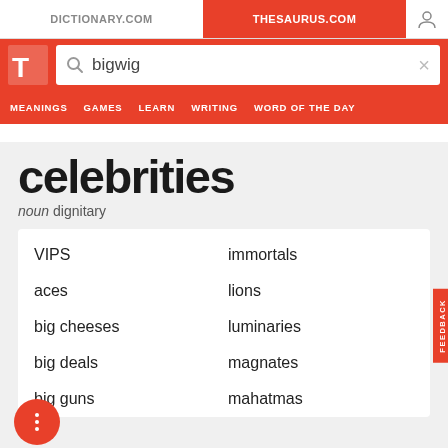DICTIONARY.COM | THESAURUS.COM
[Figure (screenshot): Thesaurus.com website header with logo, search bar showing 'bigwig', and navigation menu with MEANINGS, GAMES, LEARN, WRITING, WORD OF THE DAY]
celebrities
noun dignitary
VIPS
immortals
aces
lions
big cheeses
luminaries
big deals
magnates
big guns
mahatmas